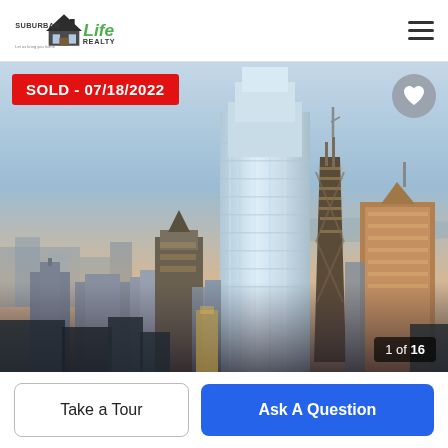Suburban Life Realty
[Figure (photo): Chicago skyline aerial view showing tall glass skyscraper in center, John Hancock building and other towers, photographed at dusk with warm and cool light tones. Overlaid with SOLD badge dated 07/18/2022, a heart/favorite button, and a photo counter showing 1 of 16.]
SOLD - 07/18/2022
1 of 16
Take a Tour
Ask A Question